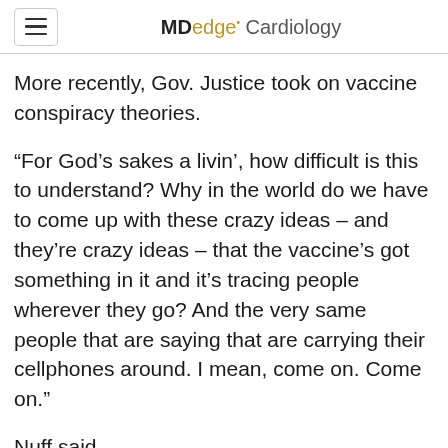MDedge Cardiology
More recently, Gov. Justice took on vaccine conspiracy theories.
“For God’s sakes a livin’, how difficult is this to understand? Why in the world do we have to come up with these crazy ideas – and they’re crazy ideas – that the vaccine’s got something in it and it’s tracing people wherever they go? And the very same people that are saying that are carrying their cellphones around. I mean, come on. Come on.”
Nuff said.